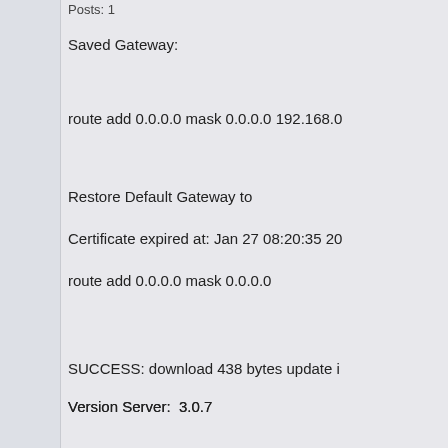Posts: 1
Saved Gateway:
route add 0.0.0.0 mask 0.0.0.0 192.168.0...
Restore Default Gateway to
Certificate expired at: Jan 27 08:20:35 20...
route add 0.0.0.0 mask 0.0.0.0
SUCCESS: download 438 bytes update i...
Version Server:  3.0.7
Version Current:  3.0.7
Certificate expired at: Jan 27 08:20:35 20...
Run script:  0
Checking installed tap driver...